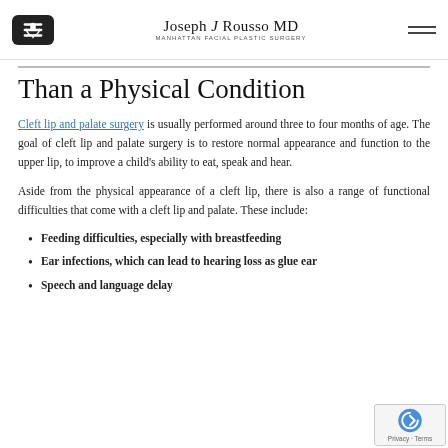Joseph J Rousso MD | Manhattan Facial Plastic Surgery
Than a Physical Condition
Cleft lip and palate surgery is usually performed around three to four months of age. The goal of cleft lip and palate surgery is to restore normal appearance and function to the upper lip, to improve a child's ability to eat, speak and hear.
Aside from the physical appearance of a cleft lip, there is also a range of functional difficulties that come with a cleft lip and palate. These include:
Feeding difficulties, especially with breastfeeding
Ear infections, which can lead to hearing loss as glue ear
Speech and language delay